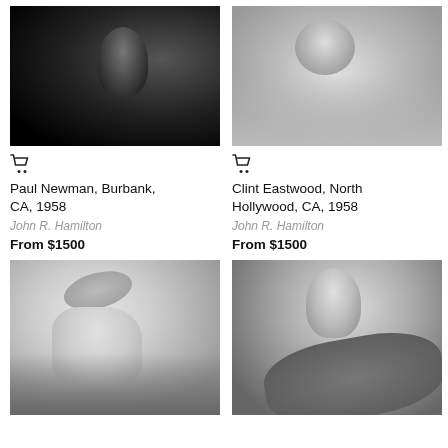[Figure (photo): Black and white profile photo of Paul Newman in dark dramatic lighting, Burbank CA 1958]
[Figure (photo): Black and white photo of Clint Eastwood, North Hollywood CA 1958, bright overhead scene]
Paul Newman, Burbank, CA, 1958
John R. Hamilton
From $1500
Clint Eastwood, North Hollywood, CA, 1958
John R. Hamilton
From $1500
[Figure (photo): Black and white photo of a woman in a hat outdoors near water]
[Figure (photo): Black and white photo of a girl in rain or wind with dramatic lighting]